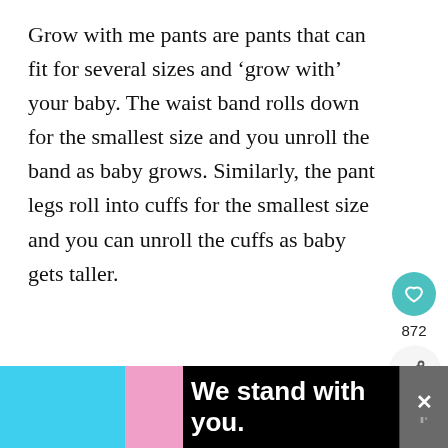Grow with me pants are pants that can fit for several sizes and ‘grow with’ your baby. The waist band rolls down for the smallest size and you unroll the band as baby grows. Similarly, the pant legs roll into cuffs for the smallest size and you can unroll the cuffs as baby gets taller.
[Figure (infographic): Teal circular heart/like button with heart icon, count of 872 below it, and a share button (circle with share icon)]
[Figure (infographic): WHAT'S NEXT arrow label in teal, with thumbnail image and text 'Grow With Me Romper']
[Figure (infographic): Advertisement banner at bottom: black background with blue and pink stripes, bold white text 'We stand with you.' with close buttons]